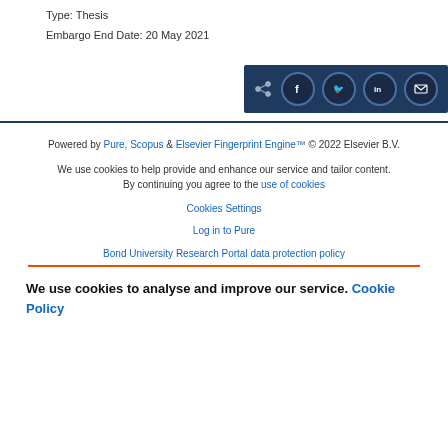Type: Thesis
Embargo End Date: 20 May 2021
[Figure (other): Social share bar with icons for share, Facebook, Twitter, LinkedIn, and email]
Powered by Pure, Scopus & Elsevier Fingerprint Engine™ © 2022 Elsevier B.V.
We use cookies to help provide and enhance our service and tailor content. By continuing you agree to the use of cookies
Cookies Settings
Log in to Pure
Bond University Research Portal data protection policy
We use cookies to analyse and improve our service. Cookie Policy